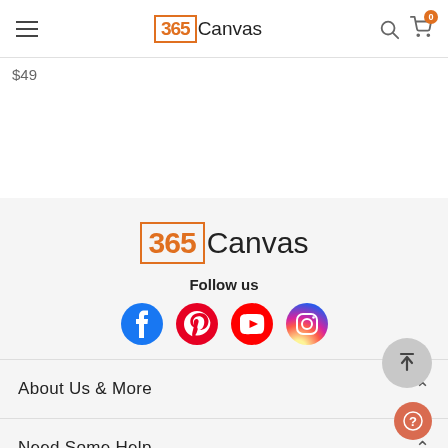365Canvas navigation header
$49
[Figure (logo): 365Canvas logo in footer with orange 365 in a box and Canvas in thin black text]
Follow us
[Figure (illustration): Social media icons: Facebook (blue), Pinterest (red), YouTube (red), Instagram (gradient)]
About Us & More
Need Some Help
Your Account & More